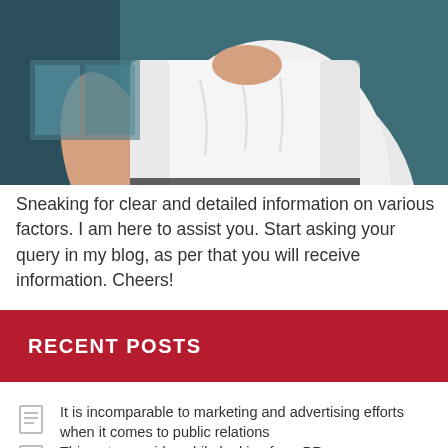[Figure (photo): Person wearing a white t-shirt, shown from behind/side, with teal/dark background]
Sneaking for clear and detailed information on various factors. I am here to assist you. Start asking your query in my blog, as per that you will receive information. Cheers!
RECENT POSTS
It is incomparable to marketing and advertising efforts when it comes to public relations
Things to consider while looking for a PR agency